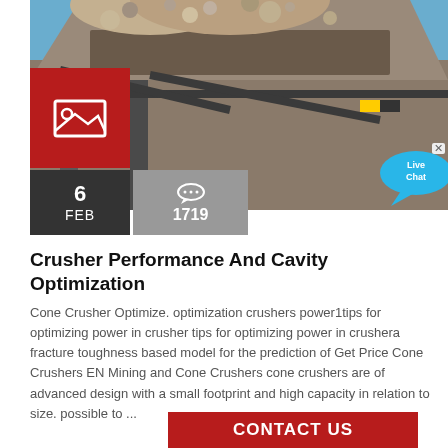[Figure (photo): Industrial crusher machinery with aggregate/gravel material being processed on a conveyor belt, viewed from below against a blue sky]
[Figure (illustration): Red box with white image/photo icon (landscape icon)]
6
FEB
1719
[Figure (illustration): Cyan speech bubble with 'Live Chat' text]
Crusher Performance And Cavity Optimization
Cone Crusher Optimize. optimization crushers power1tips for optimizing power in crusher tips for optimizing power in crushera fracture toughness based model for the prediction of Get Price Cone Crushers EN Mining and Cone Crushers cone crushers are of advanced design with a small footprint and high capacity in relation to size. possible to ...
CONTACT US